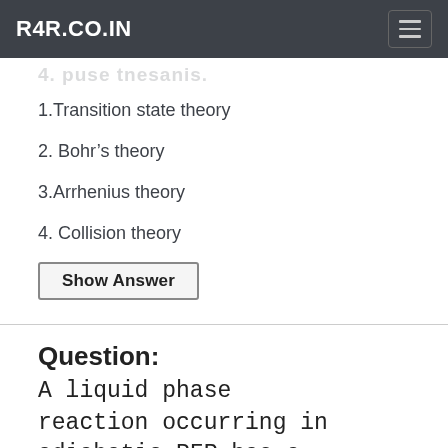R4R.CO.IN
1.Transition state theory
2. Bohr's theory
3.Arrhenius theory
4. Collision theory
Show Answer
Question:
A liquid phase reaction occurring in adiabatic PFR has a